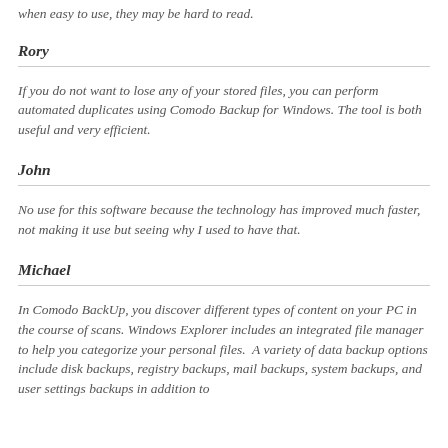when easy to use, they may be hard to read.
Rory
If you do not want to lose any of your stored files, you can perform automated duplicates using Comodo Backup for Windows. The tool is both useful and very efficient.
John
No use for this software because the technology has improved much faster, not making it use but seeing why I used to have that.
Michael
In Comodo BackUp, you discover different types of content on your PC in the course of scans. Windows Explorer includes an integrated file manager to help you categorize your personal files.  A variety of data backup options include disk backups, registry backups, mail backups, system backups, and user settings backups in addition to